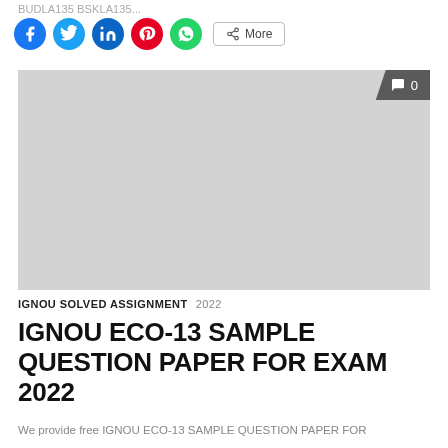BUDLA135 BSKLA135...
[Figure (other): Social sharing bar with circular icons for Facebook, Twitter, LinkedIn, Pinterest, WhatsApp, and a More button]
[Figure (other): Gray placeholder image block with a comment badge showing 0 comments in the top-right corner]
IGNOU SOLVED ASSIGNMENT  2022
IGNOU ECO-13 SAMPLE QUESTION PAPER FOR EXAM 2022
We provide free IGNOU ECO-13 SAMPLE QUESTION PAPER FOR